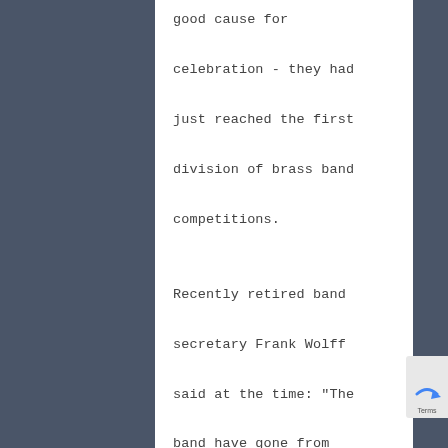good cause for celebration - they had just reached the first division of brass band competitions.

Recently retired band secretary Frank Wolff said at the time: "The band have gone from strength to strength and are now among the top bands in the county."

OXFORD MAIL, 1987